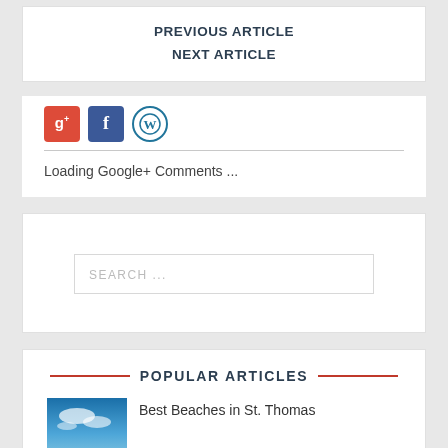PREVIOUS ARTICLE
NEXT ARTICLE
[Figure (logo): Social media icons: Google+, Facebook, WordPress]
Loading Google+ Comments ...
SEARCH ...
POPULAR ARTICLES
[Figure (photo): Beach/sky photo thumbnail]
Best Beaches in St. Thomas